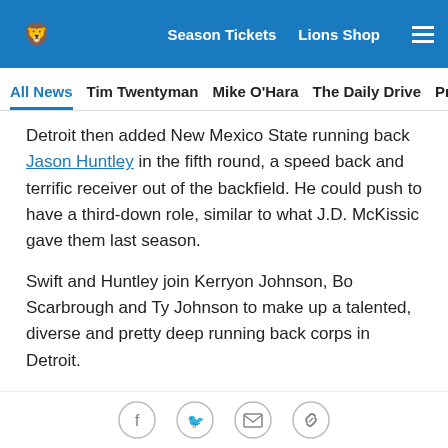Detroit Lions — Season Tickets   Lions Shop
All News   Tim Twentyman   Mike O'Hara   The Daily Drive   Press
Detroit then added New Mexico State running back Jason Huntley in the fifth round, a speed back and terrific receiver out of the backfield. He could push to have a third-down role, similar to what J.D. McKissic gave them last season.
Swift and Huntley join Kerryon Johnson, Bo Scarbrough and Ty Johnson to make up a talented, diverse and pretty deep running back corps in Detroit.
The signing of Halapoulivaati Vaitai in free agency immediately helps the rushing offense. He was a top 10 run-blocking tackle in the league last season.
Social share icons: Facebook, Twitter, Email, Link